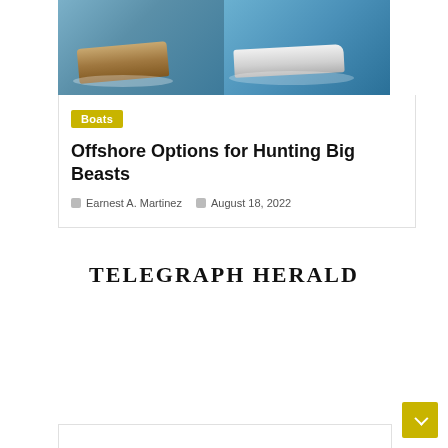[Figure (photo): Two speedboats on water — left side shows a wooden deck luxury boat, right side shows a white offshore powerboat at speed]
Boats
Offshore Options for Hunting Big Beasts
Earnest A. Martinez   August 18, 2022
[Figure (logo): TELEGRAPH HERALD newspaper logo in bold serif uppercase letters]